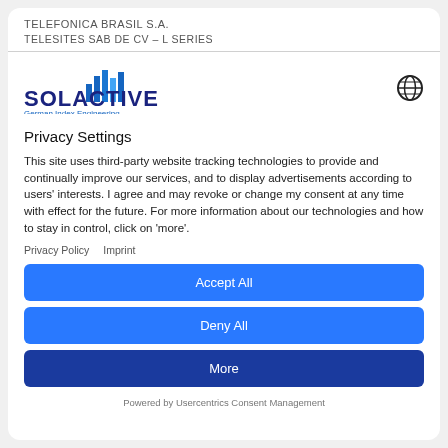TELEFONICA BRASIL S.A.
TELESITES SAB DE CV – L SERIES
[Figure (logo): Solactive logo with bar chart icon and text 'SOLACTIVE German Index Engineering']
Privacy Settings
This site uses third-party website tracking technologies to provide and continually improve our services, and to display advertisements according to users' interests. I agree and may revoke or change my consent at any time with effect for the future. For more information about our technologies and how to stay in control, click on 'more'.
Privacy Policy   Imprint
Accept All
Deny All
More
Powered by Usercentrics Consent Management